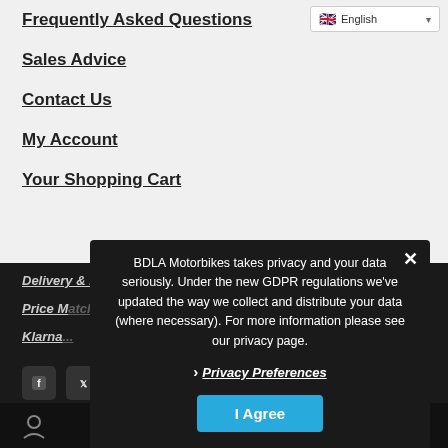English (language selector dropdown)
Frequently Asked Questions
Sales Advice
Contact Us
My Account
Your Shopping Cart
Delivery & Returns
Price M[atch]
Klarna[...]
BDLA Motorbikes takes privacy and your data seriously. Under the new GDPR regulations we've updated the way we collect and distribute your data (where necessary). For more information please see our privacy page.
Privacy Preferences
I Agree